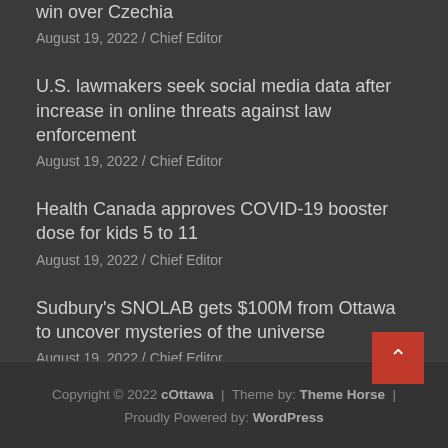win over Czechia
August 19, 2022 / Chief Editor
U.S. lawmakers seek social media data after increase in online threats against law enforcement
August 19, 2022 / Chief Editor
Health Canada approves COVID-19 booster dose for kids 5 to 11
August 19, 2022 / Chief Editor
Sudbury's SNOLAB gets $100M from Ottawa to uncover mysteries of the universe
August 19, 2022 / Chief Editor
Copyright © 2022 cOttawa | Theme by: Theme Horse | Proudly Powered by: WordPress